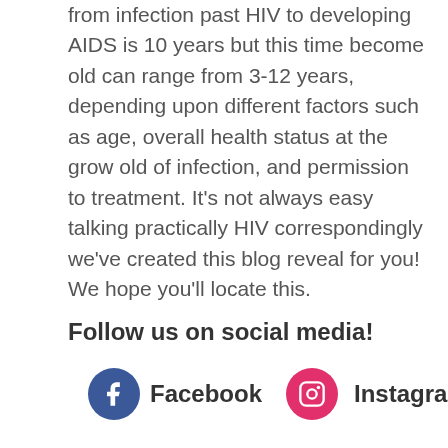from infection past HIV to developing AIDS is 10 years but this time become old can range from 3-12 years, depending upon different factors such as age, overall health status at the grow old of infection, and permission to treatment. It's not always easy talking practically HIV correspondingly we've created this blog reveal for you! We hope you'll locate this.
Follow us on social media!
[Figure (other): Social media icons: Facebook (blue circle with f icon) and Instagram (pink/red circle with camera icon), with their respective labels.]